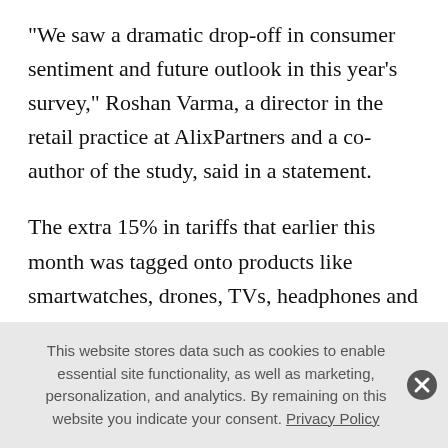"We saw a dramatic drop-off in consumer sentiment and future outlook in this year's survey," Roshan Varma, a director in the retail practice at AlixPartners and a co-author of the study, said in a statement.
The extra 15% in tariffs that earlier this month was tagged onto products like smartwatches, drones, TVs, headphones and smart speakers, plus more coming to products like smartphones and videogame consoles, leaves retailers with little room for error, Varma said. "That, among other things, means being strategic about
This website stores data such as cookies to enable essential site functionality, as well as marketing, personalization, and analytics. By remaining on this website you indicate your consent. Privacy Policy